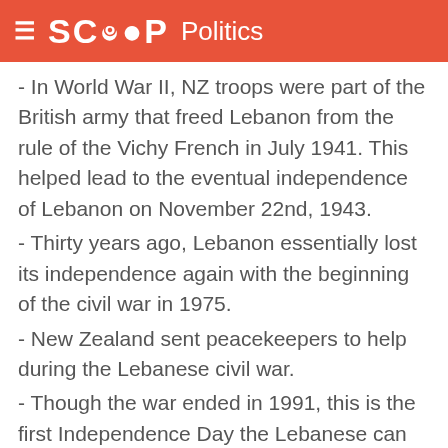SCOOP Politics
- In World War II, NZ troops were part of the British army that freed Lebanon from the rule of the Vichy French in July 1941. This helped lead to the eventual independence of Lebanon on November 22nd, 1943.
- Thirty years ago, Lebanon essentially lost its independence again with the beginning of the civil war in 1975.
- New Zealand sent peacekeepers to help during the Lebanese civil war.
- Though the war ended in 1991, this is the first Independence Day the Lebanese can celebrate without foreign troops on their soil.